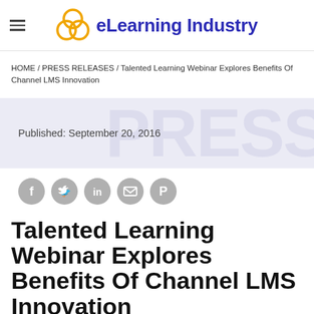eLearning Industry
HOME / PRESS RELEASES / Talented Learning Webinar Explores Benefits Of Channel LMS Innovation
Published: September 20, 2016
[Figure (other): Social sharing icons: Facebook, Twitter, LinkedIn, Email, Pinterest]
Talented Learning Webinar Explores Benefits Of Channel LMS Innovation